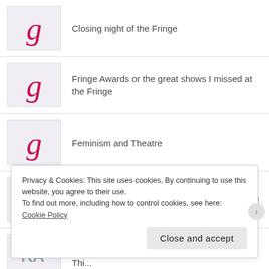Closing night of the Fringe
Fringe Awards or the great shows I missed at the Fringe
Feminism and Theatre
One Last Trilogy Post, for the moment anyway!
Today is the first day of Collaborations 2013. Thi...
Privacy & Cookies: This site uses cookies. By continuing to use this website, you agree to their use.
To find out more, including how to control cookies, see here: Cookie Policy
Close and accept